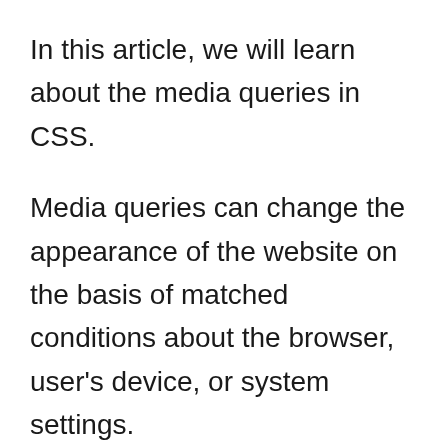In this article, we will learn about the media queries in CSS.
Media queries can change the appearance of the website on the basis of matched conditions about the browser, user's device, or system settings.
When you want to modify your site or app based on a device's general type (such as print vs. screen) or specific